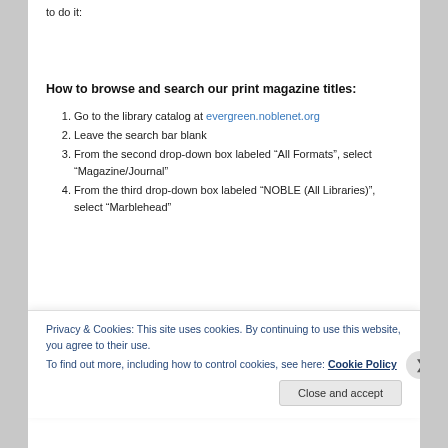to do it:
How to browse and search our print magazine titles:
Go to the library catalog at evergreen.noblenet.org
Leave the search bar blank
From the second drop-down box labeled “All Formats”, select “Magazine/Journal”
From the third drop-down box labeled “NOBLE (All Libraries)”, select “Marblehead”
Privacy & Cookies: This site uses cookies. By continuing to use this website, you agree to their use.
To find out more, including how to control cookies, see here: Cookie Policy